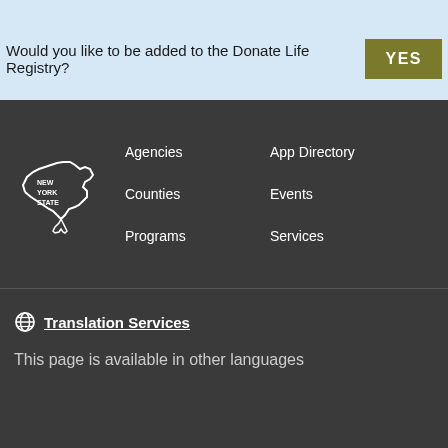Would you like to be added to the Donate Life Registry?
YES
[Figure (logo): New York State outline logo with text NEW YORK STATE]
Agencies
App Directory
Counties
Events
Programs
Services
Translation Services
This page is available in other languages